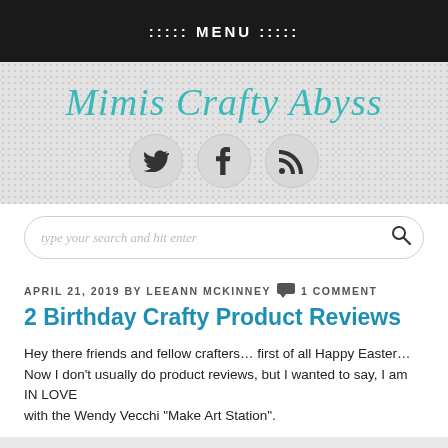:::: MENU ::::
Mimis Crafty Abyss
[Figure (illustration): Three social media icon circles: Twitter bird, Facebook 'f', and RSS feed icon]
type your search and hit enter
APRIL 21, 2019 BY LEEANN MCKINNEY  1 COMMENT
2 Birthday Crafty Product Reviews
Hey there friends and fellow crafters… first of all Happy Easter… Now I don't usually do product reviews, but I wanted to say, I am IN LOVE with the Wendy Vecchi "Make Art Station".